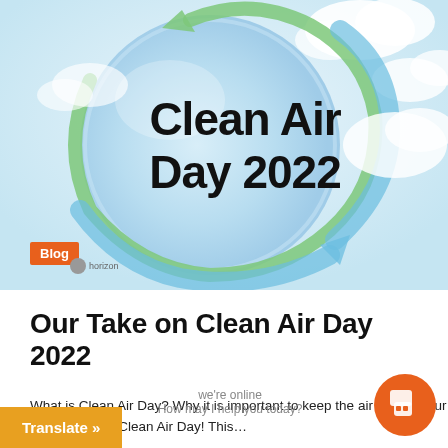[Figure (illustration): Clean Air Day 2022 promotional image featuring a globe with green and blue recycling arrows circling it, clouds in background, bold text reading 'Clean Air Day 2022' in the center]
Blog
Our Take on Clean Air Day 2022
What is Clean Air Day? Why it is important to keep the air clean in our classrooms and workplaces, and how IoT Horizon can help y... at poor air quality. Happy Clean Air Day! This...
Translate »